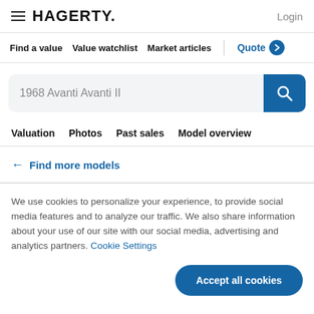HAGERTY. Login
Find a value   Value watchlist   Market articles   Quote
1968 Avanti Avanti II
Valuation   Photos   Past sales   Model overview
← Find more models
We use cookies to personalize your experience, to provide social media features and to analyze our traffic. We also share information about your use of our site with our social media, advertising and analytics partners. Cookie Settings
Accept all cookies